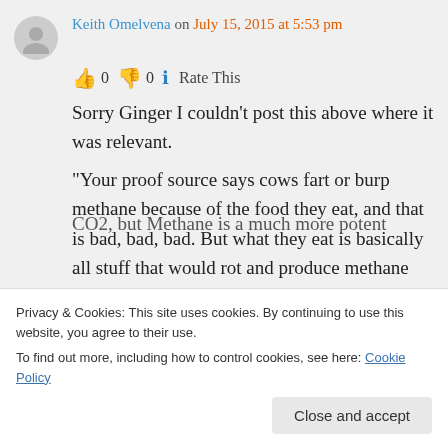Keith Omelvena on July 15, 2015 at 5:53 pm
👍 0 👎 0 ℹ Rate This
Sorry Ginger I couldn't post this above where it was relevant. "Your proof source says cows fart or burp methane because of the food they eat, and that is bad, bad, bad. But what they eat is basically all stuff that would rot and produce methane anyway."
Privacy & Cookies: This site uses cookies. By continuing to use this website, you agree to their use. To find out more, including how to control cookies, see here: Cookie Policy
Close and accept
CO2, but Methane is a much more potent